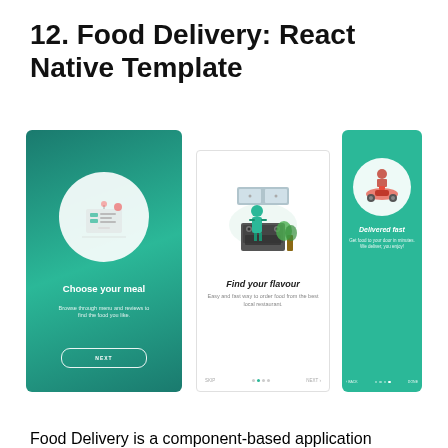12. Food Delivery: React Native Template
[Figure (screenshot): Three mobile app screens for a Food Delivery React Native app. Screen 1 (green background): shows 'Choose your meal' with 'Browse through menu and reviews to find the food you like.' and a NEXT button. Screen 2 (white background): shows 'Find your flavour' with 'Easy and fast way to order food from the best local restaurant.' Screen 3 (green background): shows 'Delivered fast' with 'Get food to your door in minutes. We deliver, you enjoy!']
Food Delivery is a component-based application template for React Native. The application has more than 25 React Native components, 50 React Native screen containers and the visual